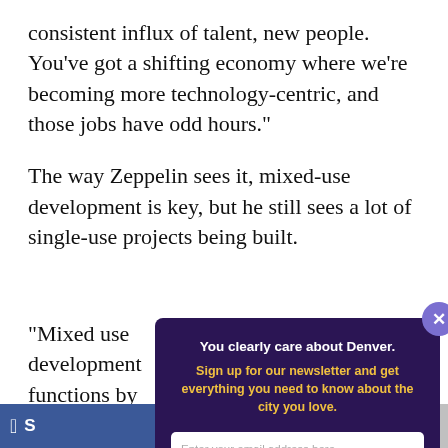consistent influx of talent, new people. You’ve got a shifting economy where we’re becoming more technology-centric, and those jobs have odd hours.”
The way Zeppelin sees it, mixed-use development is key, but he still sees a lot of single-use projects being built.
“Mixed [use development] functions by working and den People w these hu to eat at grown b
[Figure (screenshot): Newsletter signup popup modal with dark purple background. Title: 'You clearly care about Denver.' Subtitle in yellow: 'Sign up for our newsletter and get everything you need to know about the city you love.' Email input field with placeholder 'Enter your email address here...' and a yellow 'Sign me up!' button. Purple close button (X) in top-right corner.]
f S